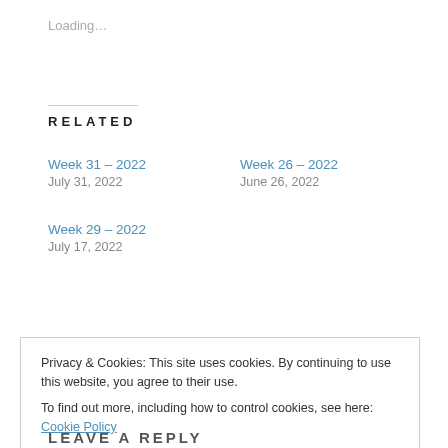Loading…
RELATED
Week 31 – 2022
July 31, 2022
Week 26 – 2022
June 26, 2022
Week 29 – 2022
July 17, 2022
Privacy & Cookies: This site uses cookies. By continuing to use this website, you agree to their use.
To find out more, including how to control cookies, see here: Cookie Policy
Close and accept
LEAVE A REPLY